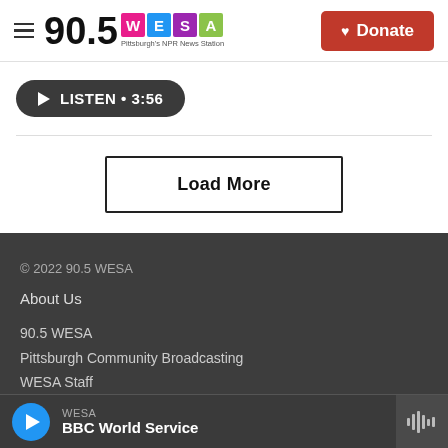90.5 WESA — Pittsburgh's NPR News Station | Donate
[Figure (other): Listen button with play icon showing LISTEN • 3:56]
Load More
© 2022 90.5 WESA
About Us
90.5 WESA
Pittsburgh Community Broadcasting
WESA Staff
WESA
BBC World Service